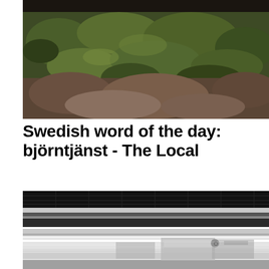[Figure (photo): Close-up photograph of mossy green vegetation and rocks, dark brown tones, natural outdoor scene]
Swedish word of the day: björntjänst - The Local
[Figure (photo): Black and white photograph of a subway/metro station interior showing ceiling structure with overhead lights and a train or platform edge]
[Figure (photo): Black and white motion-blurred photograph of a subway train passing by with advertisement posters visible on wall behind]